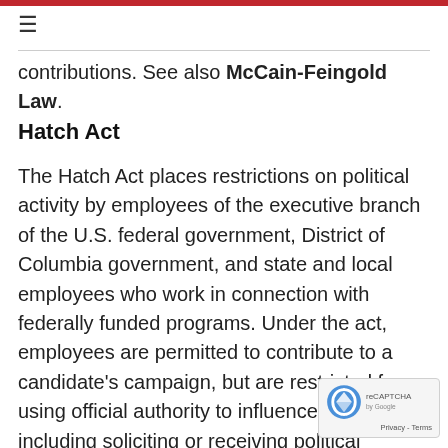contributions. See also McCain-Feingold Law.
Hatch Act
The Hatch Act places restrictions on political activity by employees of the executive branch of the U.S. federal government, District of Columbia government, and state and local employees who work in connection with federally funded programs. Under the act, employees are permitted to contribute to a candidate's campaign, but are restricted from using official authority to influence an election, including soliciting or receiving political contributions and engaging in political activity — including wearing or displaying political promotional materials — while on duty. Employees covered by the Hatch Act may run for office in a nonpartisan election, such as many school board el…